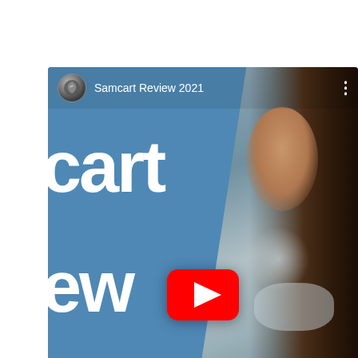[Figure (screenshot): YouTube video thumbnail screenshot for 'Samcart Review 2021'. Left half shows a blue panel with large white text reading 'cart' and 'ew' (partial 'Samcart Review'). Top-left has a circular channel logo icon and the text 'Samcart Review 2021'. Right half shows a woman with long dark hair against a blurred background. A red YouTube play button is centered at the bottom of the frame. Three vertical dots menu icon appears top-right.]